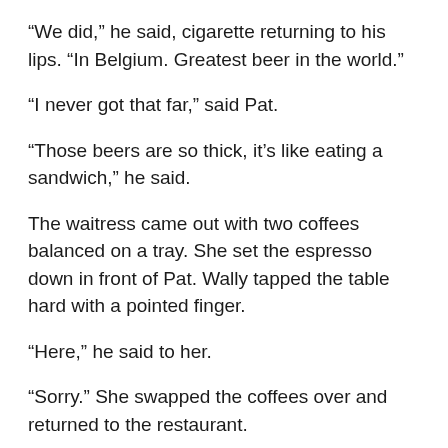“We did,” he said, cigarette returning to his lips. “In Belgium. Greatest beer in the world.”
“I never got that far,” said Pat.
“Those beers are so thick, it’s like eating a sandwich,” he said.
The waitress came out with two coffees balanced on a tray. She set the espresso down in front of Pat. Wally tapped the table hard with a pointed finger.
“Here,” he said to her.
“Sorry.” She swapped the coffees over and returned to the restaurant.
“Water?” Wally called to her over his shoulder. “You know